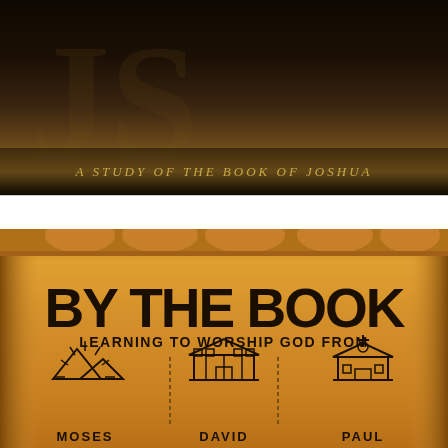[Figure (illustration): Dark textured background with golden/sepia tones showing partial text 'JOSHUA' subtitle reading 'A Study of the Book of Joshua']
[Figure (illustration): Ancient scroll image with text 'BY THE BOOK - Learning to Worship God From' with three icons representing Moses (mountain with rays), David (temple/tabernacle), and Paul (church building) with their names below]